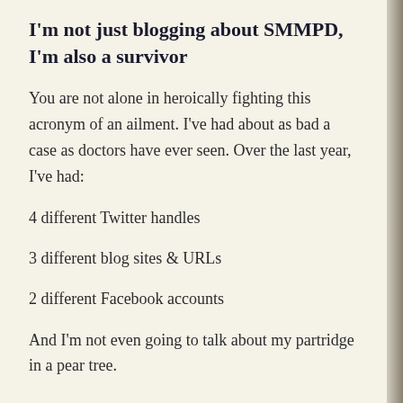I'm not just blogging about SMMPD, I'm also a survivor
You are not alone in heroically fighting this acronym of an ailment. I've had about as bad a case as doctors have ever seen. Over the last year, I've had:
4 different Twitter handles
3 different blog sites & URLs
2 different Facebook accounts
And I'm not even going to talk about my partridge in a pear tree.